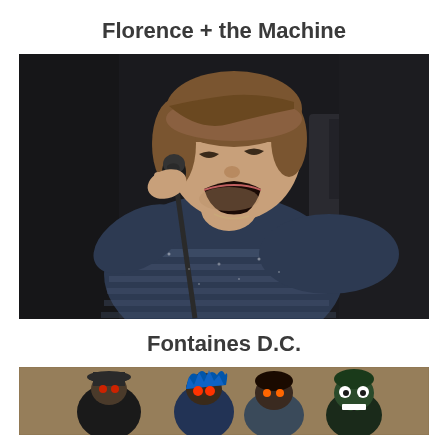Florence + the Machine
[Figure (photo): Male singer performing on stage, singing passionately into a microphone, wearing a navy blue and white striped long-sleeve shirt, with dark background]
Fontaines D.C.
[Figure (photo): Animated cartoon characters (Gorillaz band members) posed in front of a tapestry background, including characters with blue hair and dark hats]